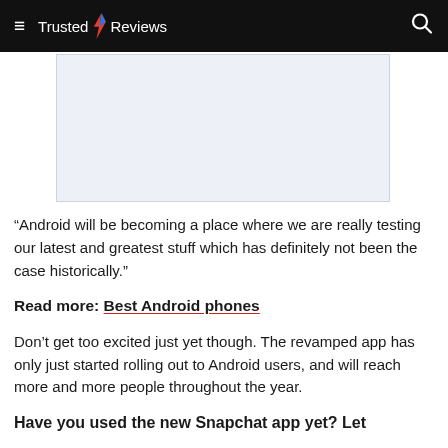≡ Trusted ⚡ Reviews 🔍
[Figure (other): Advertisement placeholder box with light blue-grey background]
“Android will be becoming a place where we are really testing our latest and greatest stuff which has definitely not been the case historically.”
Read more: Best Android phones
Don’t get too excited just yet though. The revamped app has only just started rolling out to Android users, and will reach more and more people throughout the year.
Have you used the new Snapchat app yet? Let